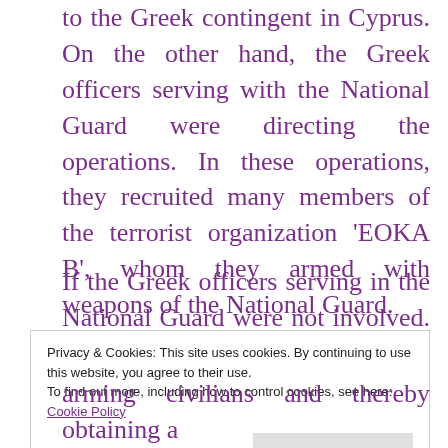to the Greek contingent in Cyprus. On the other hand, the Greek officers serving with the National Guard were directing the operations. In these operations, they recruited many members of the terrorist organization 'EOKA B', whom they armed with weapons of the National Guard.
If the Greek officers serving in the National Guard were not involved. how does one
Privacy & Cookies: This site uses cookies. By continuing to use this website, you agree to their use. To find out more, including how to control cookies, see here: Cookie Policy
Close and accept
arming civilians and thereby obtaining a